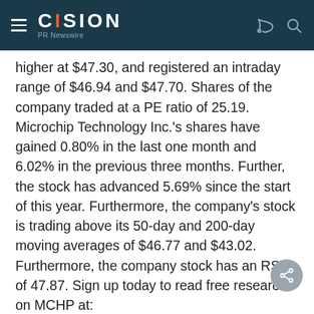CISION PR Newswire
higher at $47.30, and registered an intraday range of $46.94 and $47.70. Shares of the company traded at a PE ratio of 25.19. Microchip Technology Inc.'s shares have gained 0.80% in the last one month and 6.02% in the previous three months. Further, the stock has advanced 5.69% since the start of this year. Furthermore, the company's stock is trading above its 50-day and 200-day moving averages of $46.77 and $43.02. Furthermore, the company stock has an RSI of 47.87. Sign up today to read free research on MCHP at:
http://www.investor-edge.com/1930-MCHP-